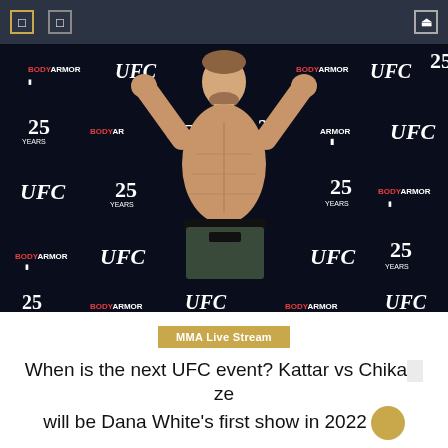Navigation bar with menu icons and search
[Figure (photo): MMA fighter posing shirtless at a UFC weigh-in event in front of a branded backdrop showing UFC, BodyArmor, and UFC 25th anniversary logos. The fighter has his arms raised flexing, wearing dark shorts.]
MMA Live Stream
When is the next UFC event? Kattar vs Chikadze will be Dana White's first show in 2022